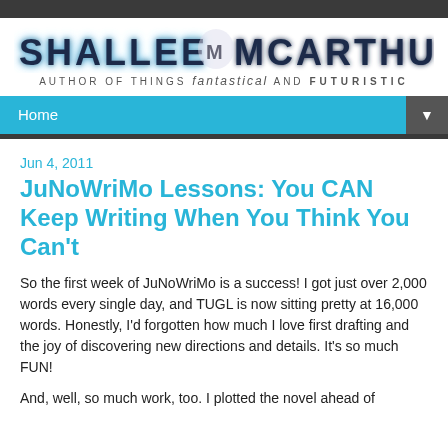SHALLEE MCARTHUR — AUTHOR OF THINGS fantastical AND FUTURISTIC
Home
Jun 4, 2011
JuNoWriMo Lessons: You CAN Keep Writing When You Think You Can't
So the first week of JuNoWriMo is a success! I got just over 2,000 words every single day, and TUGL is now sitting pretty at 16,000 words. Honestly, I'd forgotten how much I love first drafting and the joy of discovering new directions and details. It's so much FUN!
And, well, so much work, too. I plotted the novel ahead of